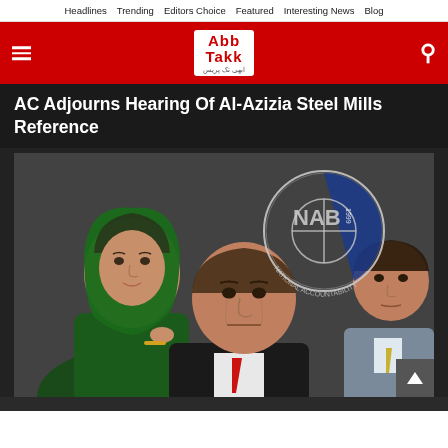Headlines  Trending  Editors Choice  Featured  Interesting News  Blog
[Figure (logo): Abb Takk news logo in red header bar with menu and search icons]
AC Adjourns Hearing Of Al-Azizia Steel Mills Reference
[Figure (photo): Photo showing Maryam Nawaz (left, in green headscarf), Nawaz Sharif (center), and another man (right), with NAB (National Accountability Bureau) logo overlay]